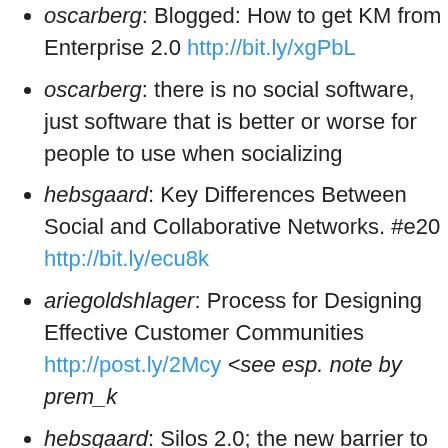oscarberg: Blogged: How to get KM from Enterprise 2.0 http://bit.ly/xgPbL
oscarberg: there is no social software, just software that is better or worse for people to use when socializing
hebsgaard: Key Differences Between Social and Collaborative Networks. #e20 http://bit.ly/ecu8k
ariegoldshlager: Process for Designing Effective Customer Communities http://post.ly/2Mcy <see esp. note by prem_k
hebsgaard: Silos 2.0; the new barrier to awareness. #e20 #ECM – interesting take on corp. silos – http://bit.ly/7VtzL
oscarberg: RT @weknowmore Dare to Share – Knowledge Management Toolkit http://...